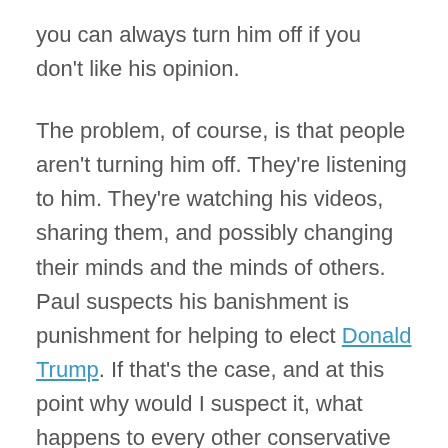you can always turn him off if you don't like his opinion.
The problem, of course, is that people aren't turning him off. They're listening to him. They're watching his videos, sharing them, and possibly changing their minds and the minds of others. Paul suspects his banishment is punishment for helping to elect Donald Trump. If that's the case, and at this point why would I suspect it, what happens to every other conservative media personalities who're pro-Trump? What happens to personalities who criticize the left? Who call Alexandria Ocasio-Cortez a stupid person, who questions the validity of man-made climate change dogma, who insist abortion is